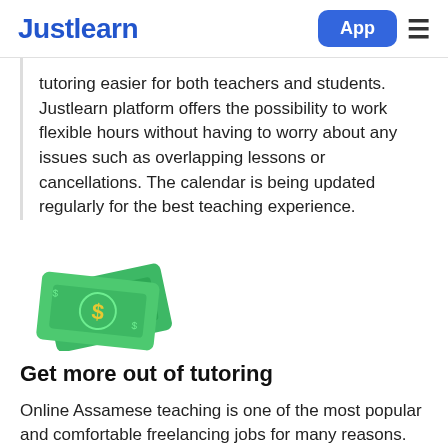Justlearn   App
tutoring easier for both teachers and students. Justlearn platform offers the possibility to work flexible hours without having to worry about any issues such as overlapping lessons or cancellations. The calendar is being updated regularly for the best teaching experience.
[Figure (illustration): Green money/cash bills emoji illustration]
Get more out of tutoring
Online Assamese teaching is one of the most popular and comfortable freelancing jobs for many reasons. The biggest benefit is being able to work whenever and wherever you want. This